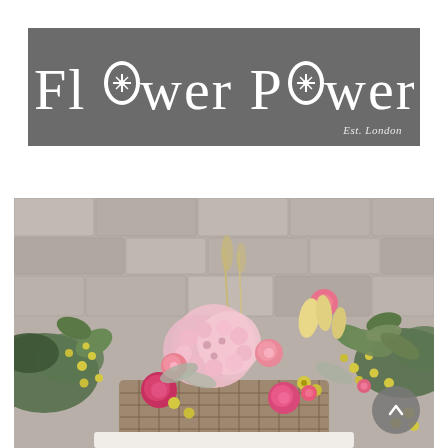[Figure (logo): Flower Power logo on dark grey background with snowflake/flower icons embedded in letters O, white text, 'Est. London' bottom right]
[Figure (other): Navigation bar with hamburger menu icon on left and search icon on right, grey background]
[Figure (photo): Photograph of a floral arrangement in a wicker basket featuring pink hydrangeas, roses, yellow flowers, dried grasses, and greenery against a stone wall background. A grey scroll-to-top button with upward chevron is overlaid in bottom right corner.]